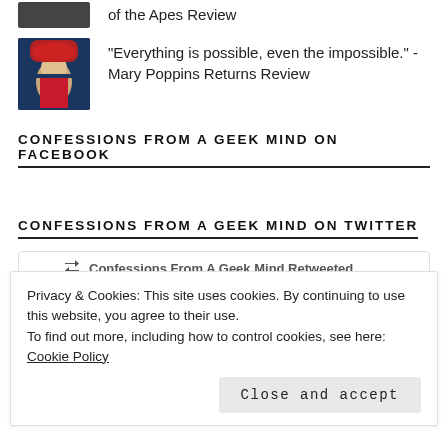[Figure (photo): Small dark movie-related thumbnail image at top left]
of the Apes Review
[Figure (photo): Mary Poppins character image with red hat]
"Everything is possible, even the impossible." - Mary Poppins Returns Review
CONFESSIONS FROM A GEEK MIND ON FACEBOOK
CONFESSIONS FROM A GEEK MIND ON TWITTER
Confessions From A Geek Mind Retweeted
Kelechi Ehenulo 🎬 @kehenulo · Aug 26
Privacy & Cookies: This site uses cookies. By continuing to use this website, you agree to their use.
To find out more, including how to control cookies, see here: Cookie Policy
Close and accept
28   155